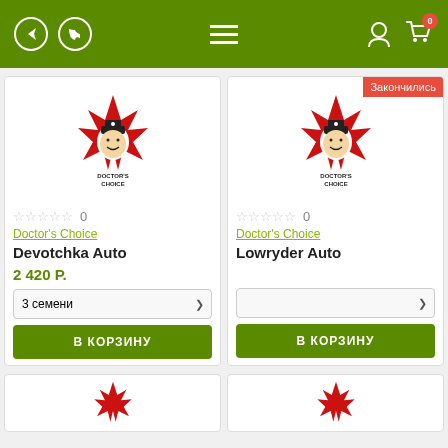Doctor's Choice shop — navigation header with Telegram, WhatsApp icons, hamburger menu, user and cart icons
[Figure (logo): Doctor's Choice logo — maple leaf with doctor face, left product card]
☆☆☆☆☆ 0
Doctor's Choice
Devotchka Auto
2 420 Р.
3 семени
В КОРЗИНУ
[Figure (logo): Doctor's Choice logo — maple leaf with doctor face, right product card]
Закончились
☆☆☆☆☆ 0
Doctor's Choice
Lowryder Auto
В КОРЗИНУ
[Figure (logo): Doctor's Choice partial logo bottom left]
[Figure (logo): Doctor's Choice partial logo bottom right]